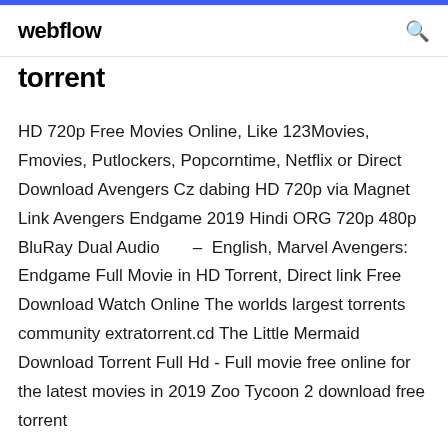webflow
torrent
HD 720p Free Movies Online, Like 123Movies, Fmovies, Putlockers, Popcorntime, Netflix or Direct Download Avengers Cz dabing HD 720p via Magnet Link Avengers Endgame 2019 Hindi ORG 720p 480p BluRay Dual Audio – English, Marvel Avengers: Endgame Full Movie in HD Torrent, Direct link Free Download Watch Online The worlds largest torrents community extratorrent.cd The Little Mermaid Download Torrent Full Hd - Full movie free online for the latest movies in 2019 Zoo Tycoon 2 download free torrent